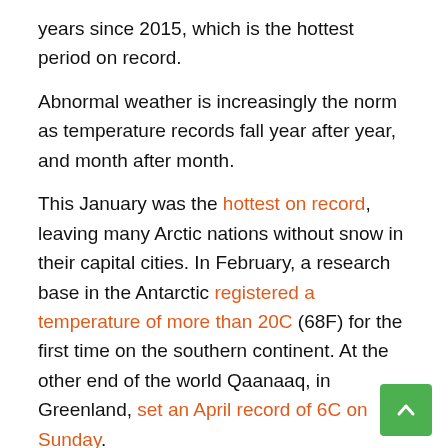years since 2015, which is the hottest period on record.
Abnormal weather is increasingly the norm as temperature records fall year after year, and month after month.
This January was the hottest on record, leaving many Arctic nations without snow in their capital cities. In February, a research base in the Antarctic registered a temperature of more than 20C (68F) for the first time on the southern continent. At the other end of the world Qaanaaq, in Greenland, set an April record of 6C on Sunday.
In the first quarter, the heating was most pronounced in eastern Europe and Asia, where temperatures were 3 above average. In recent weeks, large parts of the US